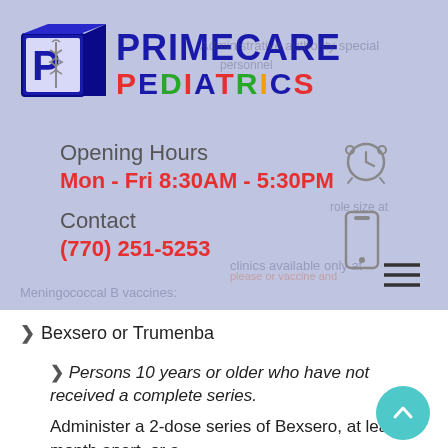[Figure (logo): PrimeCare Pediatrics logo with blue 3D cube and caduceus symbol, with PRIMECARE in blue bold text and PEDIATRICS in multicolor letters]
Opening Hours
Mon - Fri 8:30AM - 5:30PM
Contact
(770) 251-5253
Bexsero or Trumenba
Persons 10 years or older who have not received a complete series.
Administer a 2-dose series of Bexsero, at least 1 month apart, or a